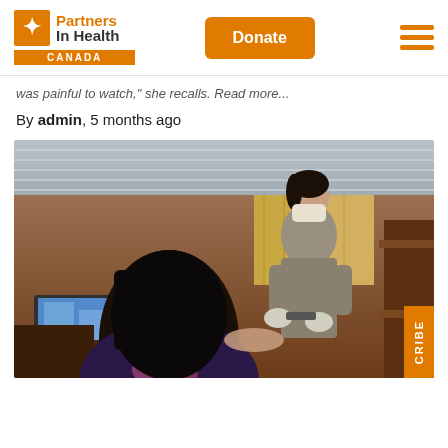Partners In Health CANADA — Donate button — Hamburger menu
was painful to watch, she recalls. Read more...
By admin, 5 months ago
[Figure (photo): A healthcare worker wearing a mask and gloves administers or prepares treatment while a patient (viewed from behind) looks on inside a modest home with a TV and bunk bed visible in the background.]